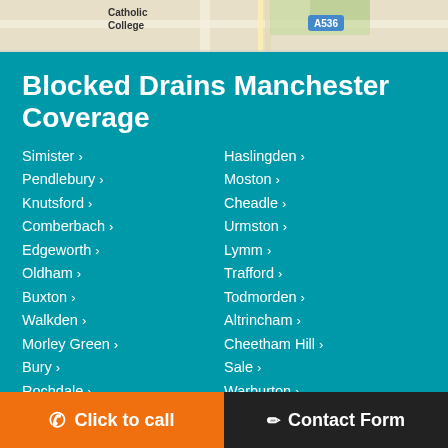[Figure (map): Top strip showing a map with Catholic College label and A536 road marker]
Blocked Drains Manchester Coverage
Simister
Pendlebury
Knutsford
Comberbach
Edgeworth
Oldham
Buxton
Walkden
Morley Green
Bury
Rochdale
Tyldsley
Ordsall
Prestwich
Haslingden
Moston
Cheadle
Urmston
Lymm
Trafford
Todmorden
Altrincham
Cheetham Hill
Sale
Warburton
Macclesfield
Wigan
Hazel Grove
Click to call | Contact Form